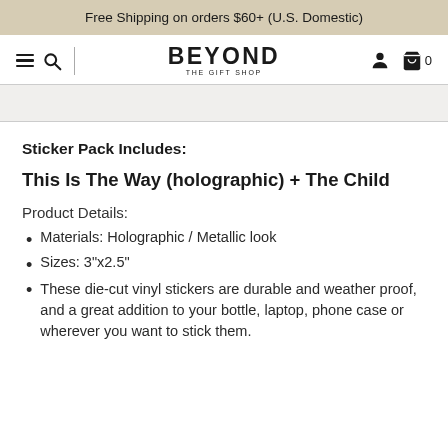Free Shipping on orders $60+ (U.S. Domestic)
[Figure (logo): Beyond The Gift Shop logo with hamburger menu, search icon, user icon, and cart showing 0 items]
Sticker Pack Includes:
This Is The Way (holographic) + The Child
Product Details:
Materials: Holographic / Metallic look
Sizes: 3"x2.5"
These die-cut vinyl stickers are durable and weather proof, and a great addition to your bottle, laptop, phone case or wherever you want to stick them.